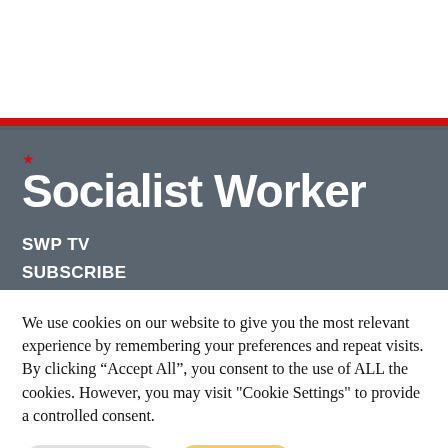Socialist Worker
SWP TV
SUBSCRIBE
We use cookies on our website to give you the most relevant experience by remembering your preferences and repeat visits. By clicking “Accept All”, you consent to the use of ALL the cookies. However, you may visit "Cookie Settings" to provide a controlled consent.
Cookie Settings | Accept All